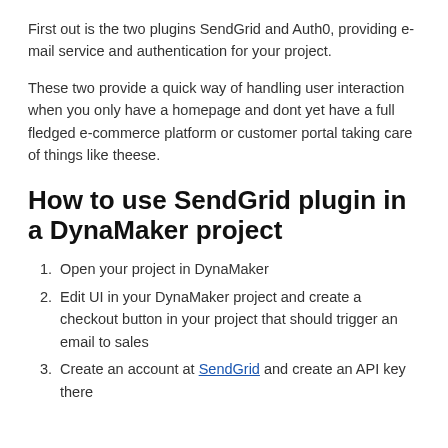First out is the two plugins SendGrid and Auth0, providing e-mail service and authentication for your project.
These two provide a quick way of handling user interaction when you only have a homepage and dont yet have a full fledged e-commerce platform or customer portal taking care of things like theese.
How to use SendGrid plugin in a DynaMaker project
Open your project in DynaMaker
Edit UI in your DynaMaker project and create a checkout button in your project that should trigger an email to sales
Create an account at SendGrid and create an API key there